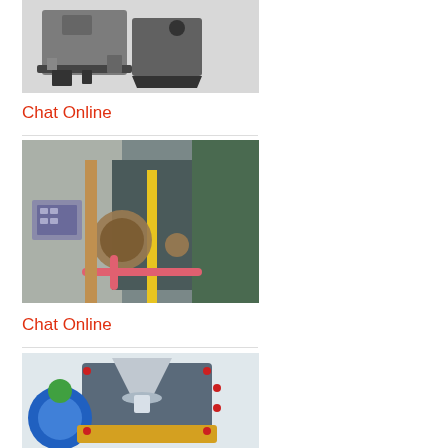[Figure (photo): Industrial milling/grinding machine equipment shown on a white background, two units side by side]
Chat Online
[Figure (photo): Industrial facility interior showing large rotating drum/mill machinery with yellow safety posts and pink pipe, green cabinet in background]
Chat Online
[Figure (photo): 3D CAD rendering of industrial crushing or grinding machine with blue, green, yellow and grey components]